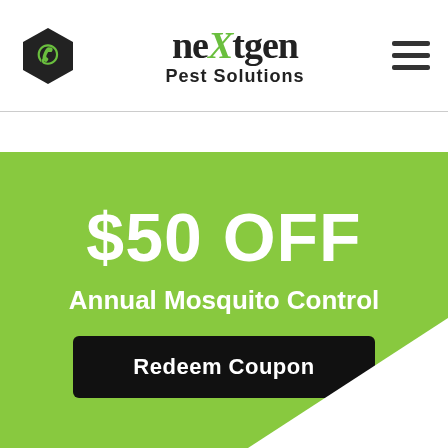[Figure (logo): nextgen Pest Solutions logo with phone icon hexagon and hamburger menu]
$50 OFF
Annual Mosquito Control
Redeem Coupon